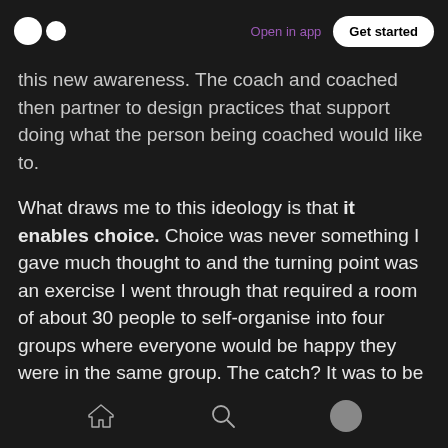Medium logo | Open in app | Get started
this new awareness. The coach and coached then partner to design practices that support doing what the person being coached would like to.
What draws me to this ideology is that it enables choice. Choice was never something I gave much thought to and the turning point was an exercise I went through that required a room of about 30 people to self-organise into four groups where everyone would be happy they were in the same group. The catch? It was to be done without saying a word.
Home | Search | Profile